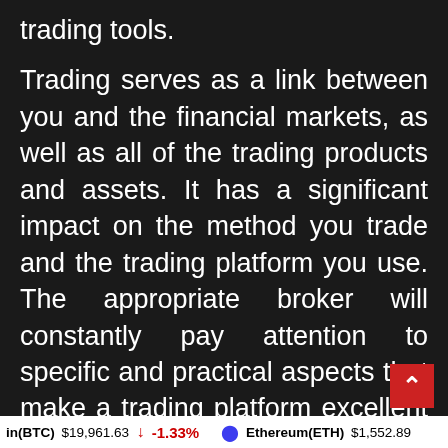trading tools.
Trading serves as a link between you and the financial markets, as well as all of the trading products and assets. It has a significant impact on the method you trade and the trading platform you use. The appropriate broker will constantly pay attention to specific and practical aspects that make a trading platform excellent or poor.
They understand the complexities of
in(BTC) $19,961.63 ↓ -1.33% Ethereum(ETH) $1,552.89